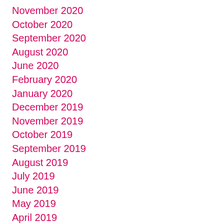November 2020
October 2020
September 2020
August 2020
June 2020
February 2020
January 2020
December 2019
November 2019
October 2019
September 2019
August 2019
July 2019
June 2019
May 2019
April 2019
March 2019